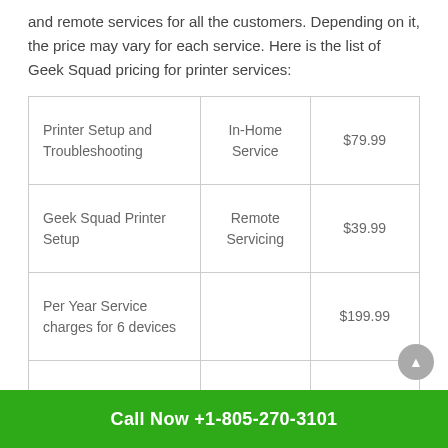and remote services for all the customers. Depending on it, the price may vary for each service. Here is the list of Geek Squad pricing for printer services:
| Printer Setup and Troubleshooting | In-Home Service | $79.99 |
| Geek Squad Printer Setup | Remote Servicing | $39.99 |
| Per Year Service charges for 6 devices |  | $199.99 |
| Geek Squad Printer | Standard | $24.99 |
Call Now +1-805-270-3101